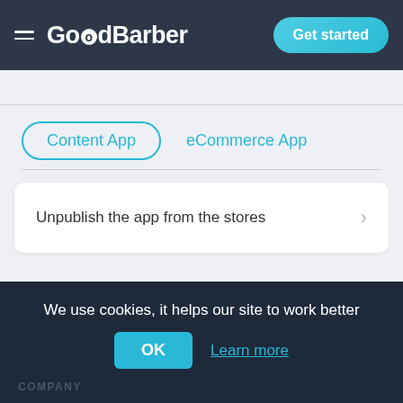GoodBarber — Get started
Content App
eCommerce App
Unpublish the app from the stores
We use cookies, it helps our site to work better
OK
Learn more
COMPANY